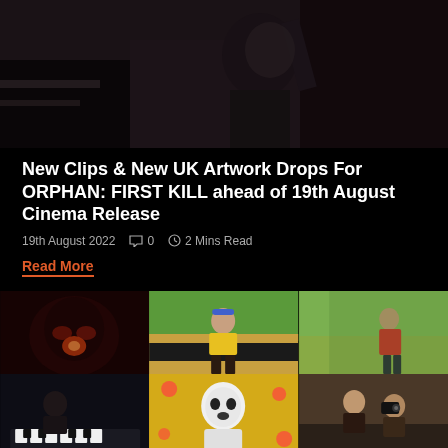[Figure (photo): Dark cinematic still showing a person in profile holding or reaching toward something, low-key lighting]
New Clips & New UK Artwork Drops For ORPHAN: FIRST KILL ahead of 19th August Cinema Release
19th August 2022   0   2 Mins Read
Read More
[Figure (photo): Grid of six movie stills: top-left dark red horror clown figure, top-center woman in yellow top with blue headband outdoors, top-right man in red jacket in field, bottom-left person at piano/keyboard, bottom-center masked figure with white mask and polka dots, bottom-right two people with camera equipment]